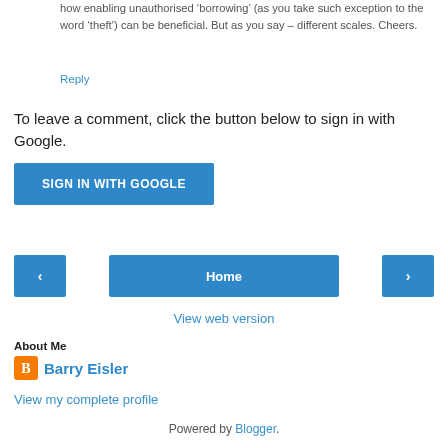how enabling unauthorised ‘borrowing’ (as you take such exception to the word ‘theft’) can be beneficial. But as you say – different scales. Cheers.
Reply
To leave a comment, click the button below to sign in with Google.
SIGN IN WITH GOOGLE
‹
Home
›
View web version
About Me
Barry Eisler
View my complete profile
Powered by Blogger.